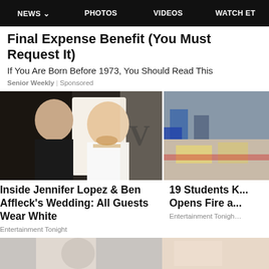NEWS  PHOTOS  VIDEOS  WATCH ET
Final Expense Benefit (You Must Request It)
If You Are Born Before 1973, You Should Read This
Senior Weekly | Sponsored
[Figure (photo): Couple at formal event, man kissing woman on cheek, woman smiling, both in formal wear]
[Figure (photo): Emergency responders with stretcher at outdoor scene, workers in yellow vests]
Inside Jennifer Lopez & Ben Affleck's Wedding: All Guests Wear White
Entertainment Tonight
19 Students ... Opens Fire a...
Entertainment Tonight
[Figure (photo): Partial bottom strip showing two partial images]
[Figure (photo): Partial bottom strip right image]